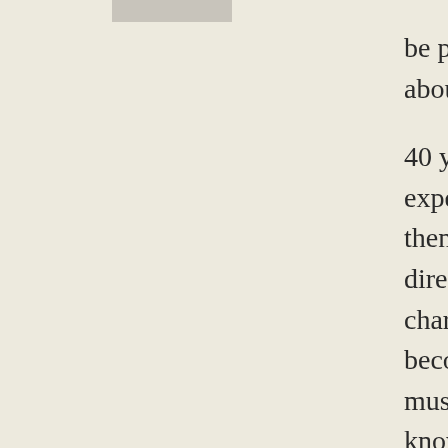[Figure (photo): A small grey rectangular image placeholder in the upper left area]
be playing flute with, among others, a pia about 40 years ago.

40 years ago *Cordelia* was a sweet, char experience of the world outside her own v then, Cordelia's carved a successful career director. She is now an opinionated, assert charms when necessary. She knows I drop become a hippy. She also knows I've work musicians and theatre people, but not man knows best. Of course, she doesn't. I kno 'Don't you think…?'/'But surely…?' type agree. Often we don't. When we disagree Regardless of who knows best, I'm the bo Cordelia her due, she will, in the end, acc

So I've been having a lot of "fear-based re situations" (well put, mb!) with Cordelia